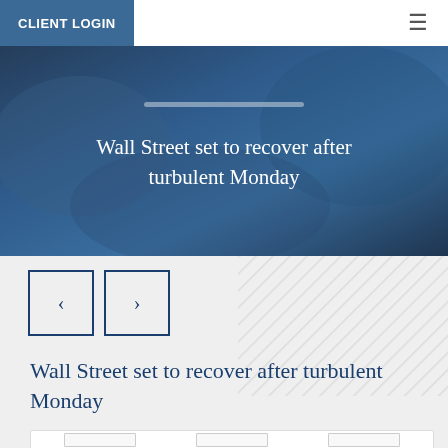CLIENT LOGIN
Wall Street set to recover after turbulent Monday
[Figure (other): Navigation arrows: left chevron button and right chevron button with dark blue borders]
Wall Street set to recover after turbulent Monday